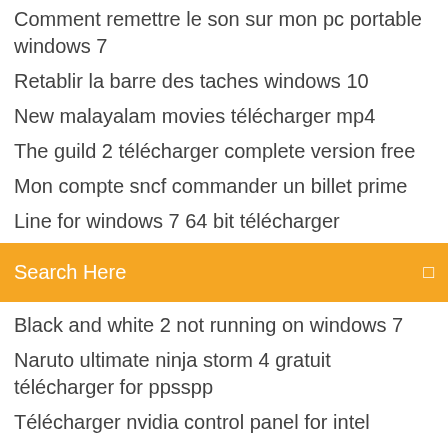Comment remettre le son sur mon pc portable windows 7
Retablir la barre des taches windows 10
New malayalam movies télécharger mp4
The guild 2 télécharger complete version free
Mon compte sncf commander un billet prime
Line for windows 7 64 bit télécharger
[Figure (screenshot): Orange search bar with 'Search Here' placeholder text and a search icon on the right]
Black and white 2 not running on windows 7
Naruto ultimate ninja storm 4 gratuit télécharger for ppsspp
Télécharger nvidia control panel for intel
Comment changer son nom sur facebook iphone
Duplicate photo finder gratuit
Free video editor premium key 1.4.53
Comment convertir une video sony vegas en mp4
Android tv remote control freebox
Microsoft word 2019 gratuit windows 8